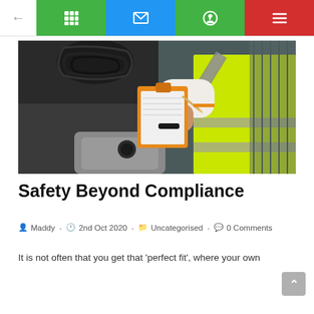Navigation bar with back arrow, grid icon, mail icon, WhatsApp icon, and menu icon
[Figure (photo): A worker in a high-visibility yellow/green reflective vest writing on a clipboard attached to an orange clipboard holder, standing in front of a large truck engine with black cables and machinery visible in the background.]
Safety Beyond Compliance
Maddy  -  2nd Oct 2020  -  Uncategorised  -  0 Comments
It is not often that you get that 'perfect fit', where your own